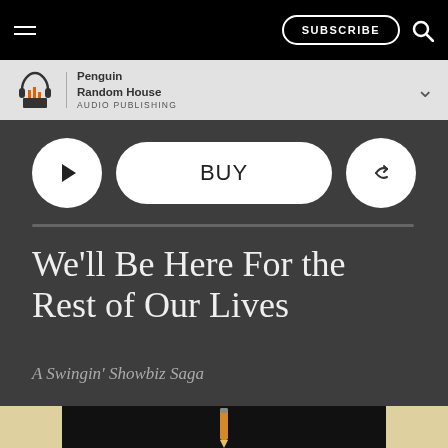SUBSCRIBE
[Figure (logo): Penguin Random House Audio Publishing logo with headphones and book icon]
Penguin Random House AUDIO PUBLISHING
[Figure (other): Play button, BUY button, and Share button controls]
We'll Be Here For the Rest of Our Lives
A Swingin' Showbiz Saga
[Figure (photo): Bottom strip showing partial book cover image with pencil]